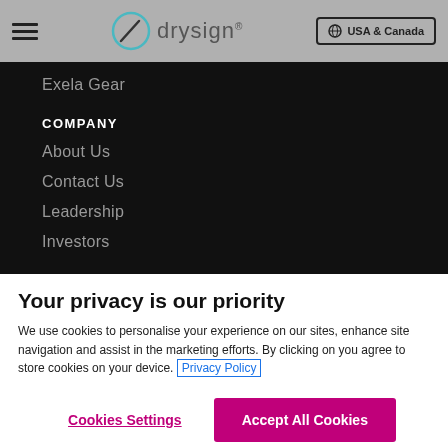drysign® | USA & Canada
Exela Gear
COMPANY
About Us
Contact Us
Leadership
Investors
Your privacy is our priority
We use cookies to personalise your experience on our sites, enhance site navigation and assist in the marketing efforts. By clicking on you agree to store cookies on your device. Privacy Policy
Cookies Settings
Accept All Cookies